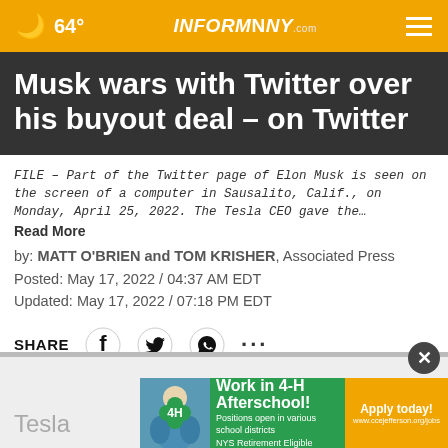64° INFORMNNY.com
Musk wars with Twitter over his buyout deal – on Twitter
FILE – Part of the Twitter page of Elon Musk is seen on the screen of a computer in Sausalito, Calif., on Monday, April 25, 2022. The Tesla CEO gave the…
Read More
by: MATT O'BRIEN and TOM KRISHER, Associated Press
Posted: May 17, 2022 / 04:37 AM EDT
Updated: May 17, 2022 / 07:18 PM EDT
SHARE
[Figure (infographic): Work in 4-H Afterschool! Positions open in various school districts. NYS Retirement Eligible. Apply today! www.ccejefferson.org/jobs]
Tesla